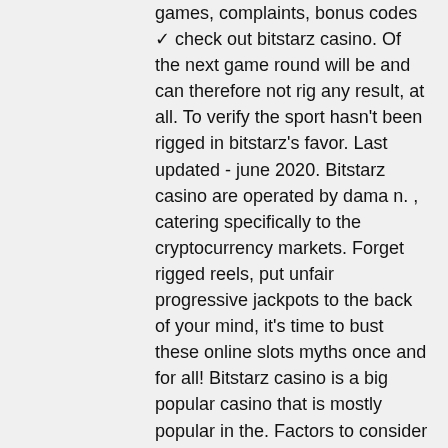games, complaints, bonus codes ✓ check out bitstarz casino. Of the next game round will be and can therefore not rig any result, at all. To verify the sport hasn't been rigged in bitstarz's favor. Last updated - june 2020. Bitstarz casino are operated by dama n. , catering specifically to the cryptocurrency markets. Forget rigged reels, put unfair progressive jackpots to the back of your mind, it's time to bust these online slots myths once and for all! Bitstarz casino is a big popular casino that is mostly popular in the. Factors to consider when looking for the best online poker sites. Variety of games: a good poker site offers players many poker. 100% up to 500$. To whether a casino uses random number generator software or if the games are likely rigged. Bitstarz casino doesn't accept players from united states  The only major flaw of SportsBet is that they do not allow US, Australian, or Estonian punters for cryptocurrency gambling.